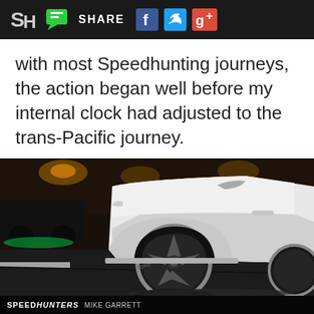SH [logo] [chat icon] SHARE [Facebook icon] [Twitter icon] [Google+ icon]
with most Speedhunting journeys, the action began well before my internal clock had adjusted to the trans-Pacific journey.
[Figure (photo): Low-angle close-up photograph of a white lowered car with large chrome/dark multi-spoke rims, shot at night in a parking garage with bokeh lights in background. The car sits extremely low to the ground with stretched tires.]
SPEEDHUNTERS MIKE GARRETT